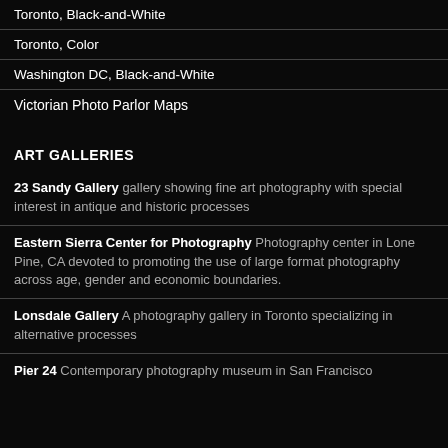Toronto, Black-and-White
Toronto, Color
Washington DC, Black-and-White
Victorian Photo Parlor Maps
ART GALLERIES
23 Sandy Gallery gallery showing fine art photography with special interest in antique and historic processes
Eastern Sierra Center for Photography Photography center in Lone Pine, CA devoted to promoting the use of large format photography across age, gender and economic boundaries.
Lonsdale Gallery A photography gallery in Toronto specializing in alternative processes
Pier 24 Contemporary photography museum in San Francisco